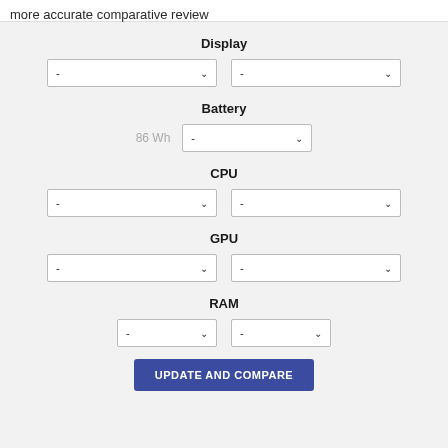more accurate comparative review
Display
- (dropdown) | - (dropdown)
Battery
86 Wh | - (dropdown)
CPU
- (dropdown) | - (dropdown)
GPU
- (dropdown) | - (dropdown)
RAM
- (dropdown) | - (dropdown)
UPDATE AND COMPARE